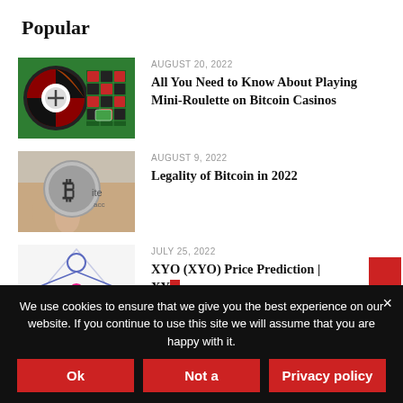Popular
AUGUST 20, 2022
[Figure (photo): Roulette wheel and green casino table]
All You Need to Know About Playing Mini-Roulette on Bitcoin Casinos
AUGUST 9, 2022
[Figure (photo): Hand holding a Bitcoin coin]
Legality of Bitcoin in 2022
JULY 25, 2022
[Figure (illustration): XYO network node diagram in blue and pink]
XYO (XYO) Price Prediction | XYO
We use cookies to ensure that we give you the best experience on our website. If you continue to use this site we will assume that you are happy with it.
Ok
Not a
Privacy policy